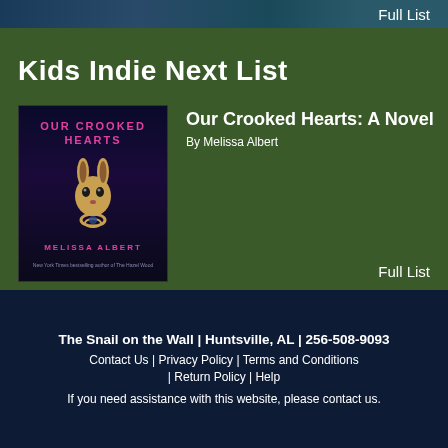[Figure (photo): Partial banner/header image strip at the top of the page with dark blue tones]
Full List
Kids Indie Next List
[Figure (photo): Book cover of 'Our Crooked Hearts' by Melissa Albert, showing a gold rabbit head against a dark background with pink/magenta text]
Our Crooked Hearts: A Novel
By Melissa Albert
Full List
The Snail on the Wall | Huntsville, AL | 256-508-9093
Contact Us | Privacy Policy | Terms and Conditions | Return Policy | Help
If you need assistance with this website, please contact us.